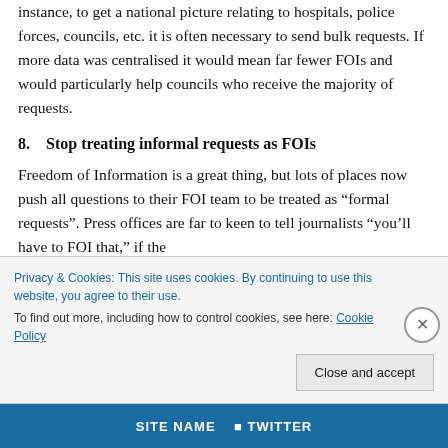instance, to get a national picture relating to hospitals, police forces, councils, etc. it is often necessary to send bulk requests. If more data was centralised it would mean far fewer FOIs and would particularly help councils who receive the majority of requests.
8.    Stop treating informal requests as FOIs
Freedom of Information is a great thing, but lots of places now push all questions to their FOI team to be treated as “formal requests”. Press offices are far to keen to tell journalists “you’ll have to FOI that,” if the
Privacy & Cookies: This site uses cookies. By continuing to use this website, you agree to their use.
To find out more, including how to control cookies, see here: Cookie Policy
Close and accept